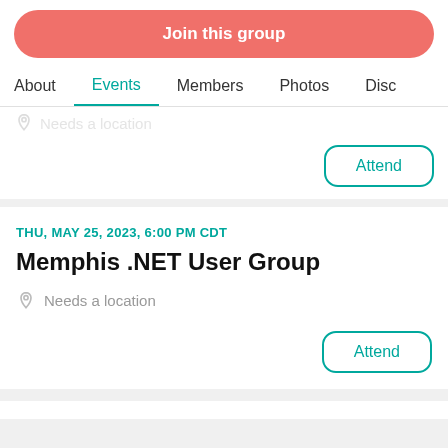Join this group
About | Events | Members | Photos | Disc
Needs a location
Attend
THU, MAY 25, 2023, 6:00 PM CDT
Memphis .NET User Group
Needs a location
Attend